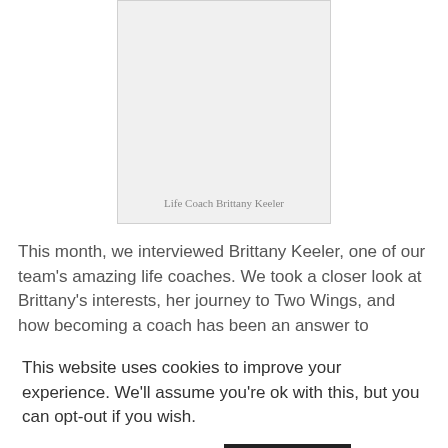[Figure (photo): Light gray placeholder rectangle representing a photo of Life Coach Brittany Keeler]
Life Coach Brittany Keeler
This month, we interviewed Brittany Keeler, one of our team's amazing life coaches. We took a closer look at Brittany's interests, her journey to Two Wings, and how becoming a coach has been an answer to
This website uses cookies to improve your experience. We'll assume you're ok with this, but you can opt-out if you wish.
Cookie settings   ACCEPT